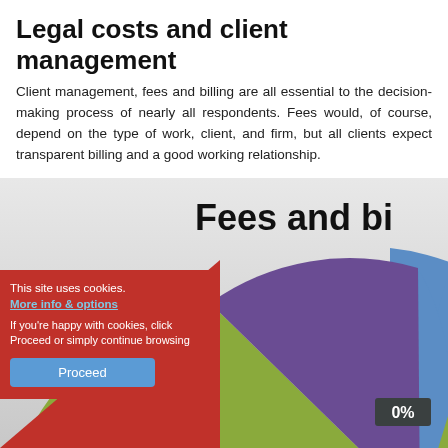Legal costs and client management
Client management, fees and billing are all essential to the decision-making process of nearly all respondents. Fees would, of course, depend on the type of work, client, and firm, but all clients expect transparent billing and a good working relationship.
[Figure (pie-chart): Partial pie chart visible showing blue segment (~37%), large olive/green segment (~61%), small segments near 0%, with cookie consent overlay partially obscuring lower-left]